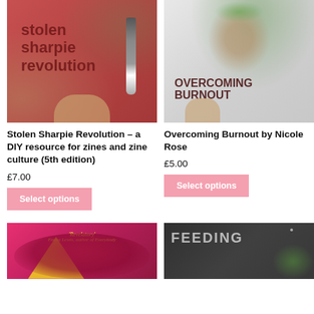[Figure (photo): Hand holding a red book cover 'Stolen Sharpie Revolution' with a Sharpie marker on it]
[Figure (photo): Hand holding a white book cover 'Overcoming Burnout by Nicole Rose' with skeleton and flowers illustration]
Stolen Sharpie Revolution – a DIY resource for zines and zine culture (5th edition)
£7.00
Select options
Overcoming Burnout by Nicole Rose
£5.00
Select options
[Figure (photo): Pink and magenta book cover with brain illustration and yellow bird, quote 'Revelatory' - Emma Lewis, author of Everybody]
[Figure (photo): Dark/black book cover with 'FEEDING' text in outline letters, with plant leaves visible]